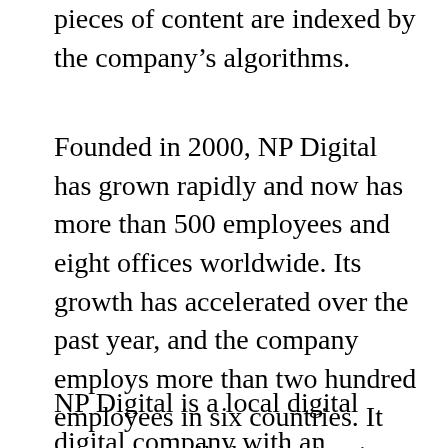pieces of content are indexed by the company’s algorithms.
Founded in 2000, NP Digital has grown rapidly and now has more than 500 employees and eight offices worldwide. Its growth has accelerated over the past year, and the company employs more than two hundred employees in six countries. It was a controlled and minority-based agency, which emphasized diversity. NP Digital is investing more than $ 6.2 million in technology and product development by 2021.
NP Digital is a local digital digital company with an international organization. The